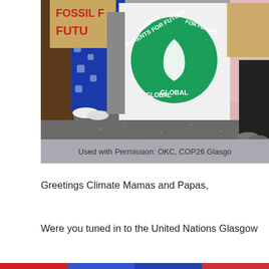[Figure (photo): Outdoor protest/march scene showing people holding signs and a white banner reading 'Parents for Future Global' with a green circular logo. Visible signs include partial text 'Fossil F...' and 'Futu...' on cardboard. People wearing colorful clothing including blue patterned pants and white shoes. Cobblestone/pavement ground visible.]
Used with Permission: OKC, COP26 Glasgow
Greetings Climate Mamas and Papas,
Were you tuned in to the United Nations Glasgow